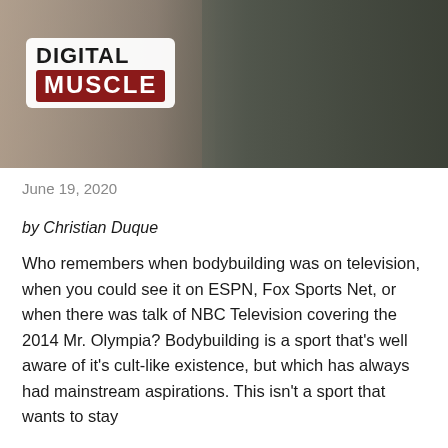[Figure (photo): A photo showing people at what appears to be a bodybuilding or sports media event, with a Digital Muscle logo overlay in the lower left of the image]
June 19, 2020
by Christian Duque
Who remembers when bodybuilding was on television, when you could see it on ESPN, Fox Sports Net, or when there was talk of NBC Television covering the 2014 Mr. Olympia? Bodybuilding is a sport that's well aware of it's cult-like existence, but which has always had mainstream aspirations. This isn't a sport that wants to stay